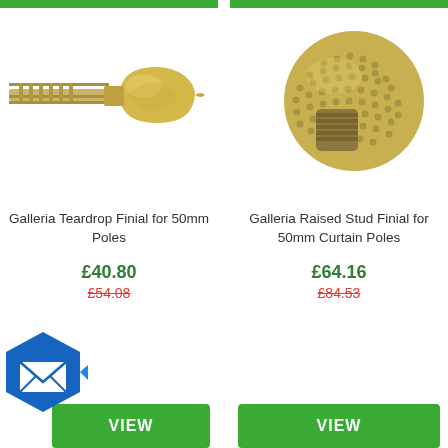[Figure (photo): Galleria Teardrop Finial for 50mm Poles - brass/gold colored teardrop shaped curtain pole finial]
Galleria Teardrop Finial for 50mm Poles
£40.80
£54.08
[Figure (photo): Galleria Raised Stud Finial for 50mm Curtain Poles - brass/gold colored round studded ball curtain pole finial]
Galleria Raised Stud Finial for 50mm Curtain Poles
£64.16
£84.53